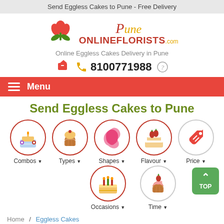Send Eggless Cakes to Pune - Free Delivery
[Figure (logo): Pune Online Florists logo with tulip flower icon, orange/red text]
Online Eggless Cakes Delivery in Pune
8100771988
Menu
Send Eggless Cakes to Pune
[Figure (illustration): Category icons row 1: Combos (birthday cake with flowers), Types (cupcake), Shapes (pink flower shape), Flavour (layered cake with strawberries), Price (red price tag)]
[Figure (illustration): Category icons row 2: Occasions (birthday cake with candles), Time (cupcake with strawberry)]
Home / Eggless Cakes